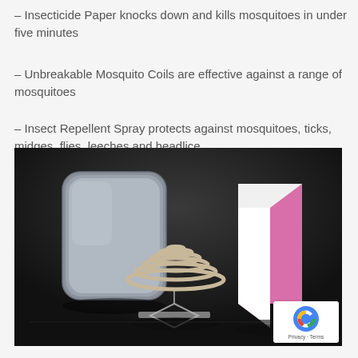– Insecticide Paper knocks down and kills mosquitoes in under five minutes
– Unbreakable Mosquito Coils are effective against a range of mosquitoes
– Insect Repellent Spray protects against mosquitoes, ticks, midges, flies, leeches and headlice
[Figure (photo): Product photo on dark background showing: a metal tin case (left), a mosquito coil on a clear stand (center), and a folded pink/white paper or card (right). Dark studio photography style.]